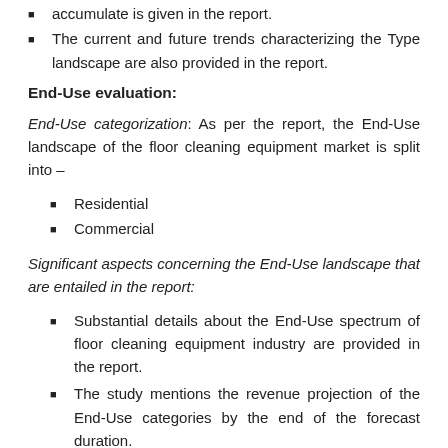accumulate is given in the report.
The current and future trends characterizing the Type landscape are also provided in the report.
End-Use evaluation:
End-Use categorization: As per the report, the End-Use landscape of the floor cleaning equipment market is split into –
Residential
Commercial
Significant aspects concerning the End-Use landscape that are entailed in the report:
Substantial details about the End-Use spectrum of floor cleaning equipment industry are provided in the report.
The study mentions the revenue projection of the End-Use categories by the end of the forecast duration.
The current and future trends on End-Use are will